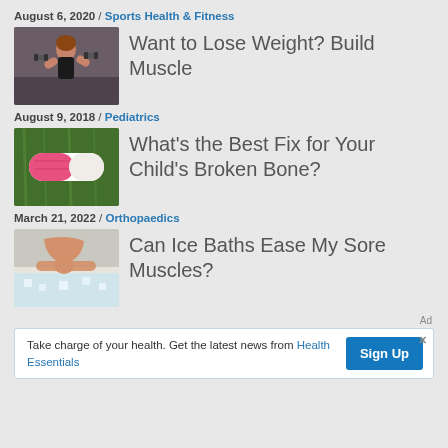August 6, 2020 / Sports Health & Fitness
[Figure (photo): Woman lifting dumbbells in a gym]
Want to Lose Weight? Build Muscle
August 9, 2018 / Pediatrics
[Figure (photo): Child's arm in a pink cast on grass]
What's the Best Fix for Your Child's Broken Bone?
March 21, 2022 / Orthopaedics
[Figure (photo): Man sitting in an ice bath]
Can Ice Baths Ease My Sore Muscles?
Ad
Take charge of your health. Get the latest news from Health Essentials
Sign Up